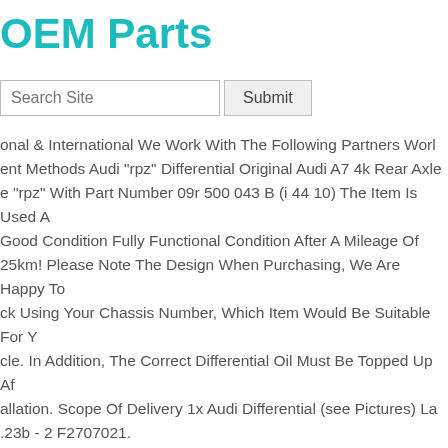OEM Parts
Search Site
onal & International We Work With The Following Partners World... ent Methods Audi "rpz" Differential Original Audi A7 4k Rear Axle e "rpz" With Part Number 09r 500 043 B (i 44 10) The Item Is Used A Good Condition Fully Functional Condition After A Mileage Of 25km! Please Note The Design When Purchasing, We Are Happy To ck Using Your Chassis Number, Which Item Would Be Suitable For Y cle. In Addition, The Correct Differential Oil Must Be Topped Up Af allation. Scope Of Delivery 1x Audi Differential (see Pictures) La .23b - 2 F2707021.
07542505 Differential Hinterachsgetriebe 3,23 New Oem Bmw 5er E M54. Weber-cars Gmbh Here You Can Find Spare Parts For Your Au or Bmw At Fair Prices 3,000 Square Meters Of Storage Space Shipp onal & International We Work With The Following Partners Worldw ent Methods Bmw E61 525i M54 Rear Axle Differential New & Orig 5 Series E61 Touring 525i M54 Rear Axle Differential With Th...